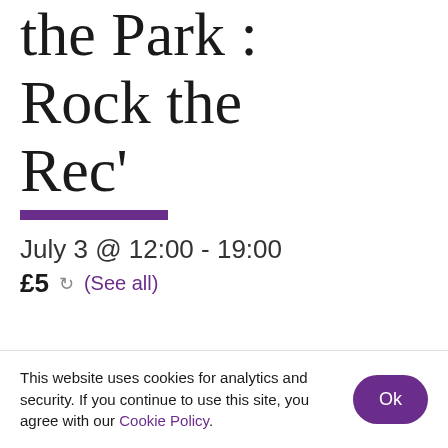the Park : Rock the Rec'
July 3 @ 12:00 - 19:00
£5  (See all)
This website uses cookies for analytics and security. If you continue to use this site, you agree with our Cookie Policy. Ok